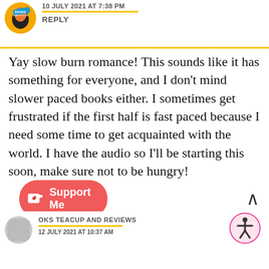10 JULY 2021 AT 7:38 PM
REPLY
Yay slow burn romance! This sounds like it has something for everyone, and I don't mind slower paced books either. I sometimes get frustrated if the first half is fast paced because I need some time to get acquainted with the world. I have the audio so I'll be starting this soon, make sure not to be hungry!
Loading...
OKS TEACUP AND REVIEWS
12 JULY 2021 AT 10:37 AM
[Figure (other): Support Me button with Ko-fi cup icon in red/coral pill shape]